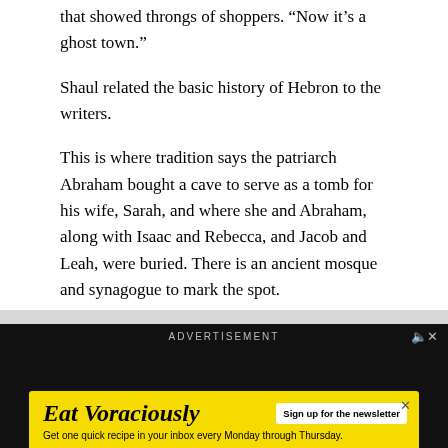that showed throngs of shoppers. “Now it’s a ghost town.”
Shaul related the basic history of Hebron to the writers.
This is where tradition says the patriarch Abraham bought a cave to serve as a tomb for his wife, Sarah, and where she and Abraham, along with Isaac and Rebecca, and Jacob and Leah, were buried. There is an ancient mosque and synagogue to mark the spot.
[Figure (screenshot): Advertisement banner with dark background, showing ADVERTISEMENT label and a mute icon. Below is an Eat Voraciously newsletter signup bar in yellow.]
Eat Voraciously — Sign up for the newsletter. Get one quick recipe in your inbox every Monday through Thursday.